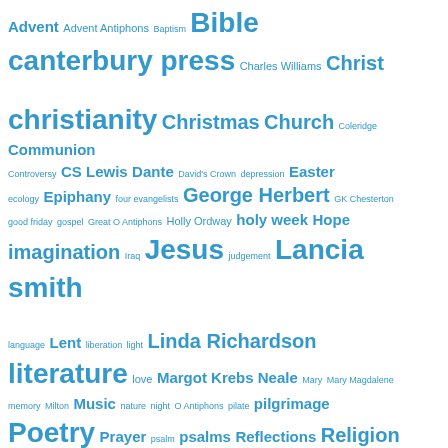[Figure (infographic): Tag cloud with religious, literary, and theological terms rendered in blue at varying font sizes indicating frequency/importance. Terms include: Advent, Advent Antiphons, Baptism, Bible, canterbury press, Charles Williams, Christ, christianity, Christmas, Church, Coleridge, Communion, Controversy, CS Lewis, Dante, David's Crown, depression, Easter, ecology, Epiphany, four evangelists, George Herbert, GK Chesterton, good friday, gospel, Great O Antiphons, Holly Ordway, holy week, Hope, imagination, Iraq, Jesus, judgement, Lancia smith, language, Lent, liberation, light, Linda Richardson, literature, love, Margot Krebs Neale, Mary, Mary Magdalene, memory, Milton, Music, nature, night, O Antiphons, pilate, pilgrimage, Poetry, Prayer, psalm, psalms, Reflections, Religion, Resurrection, sacrifice, silence, Sonnets, sonnet]